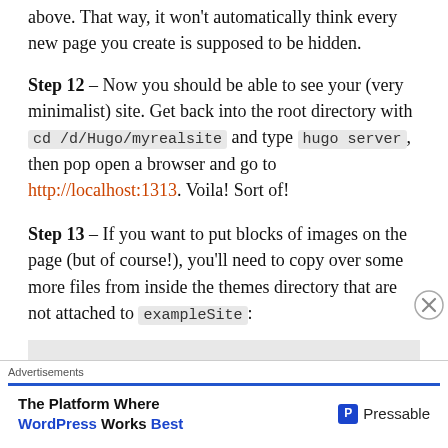above. That way, it won't automatically think every new page you create is supposed to be hidden.
Step 12 – Now you should be able to see your (very minimalist) site. Get back into the root directory with cd /d/Hugo/myrealsite and type hugo server, then pop open a browser and go to http://localhost:1313. Voila! Sort of!
Step 13 – If you want to put blocks of images on the page (but of course!), you'll need to copy over some more files from inside the themes directory that are not attached to exampleSite:
[Figure (screenshot): Gray box showing a partial screenshot of a code or file listing area]
Advertisements
The Platform Where WordPress Works Best – Pressable advertisement